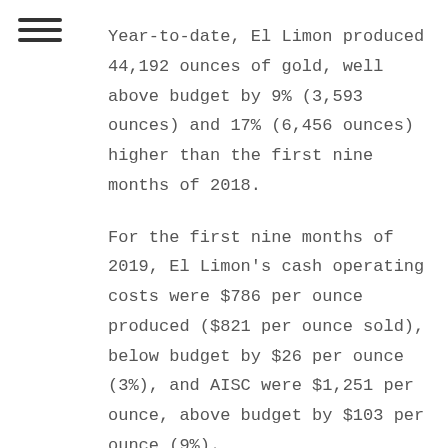Year-to-date, El Limon produced 44,192 ounces of gold, well above budget by 9% (3,593 ounces) and 17% (6,456 ounces) higher than the first nine months of 2018.
For the first nine months of 2019, El Limon's cash operating costs were $786 per ounce produced ($821 per ounce sold), below budget by $26 per ounce (3%), and AISC were $1,251 per ounce, above budget by $103 per ounce (9%).
For full-year 2019, the Company's share of production from El Limon is now expected to be between 50,000 and 55,000 ounces of gold (the forecast includes the Company's